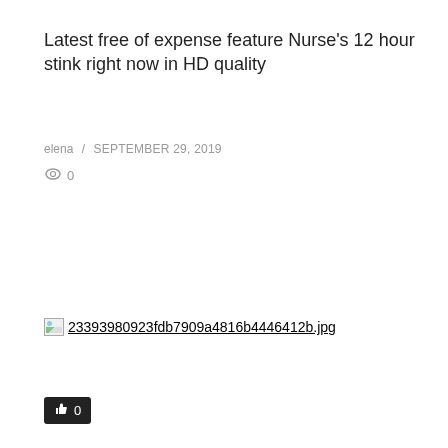Latest free of expense feature Nurse's 12 hour stink right now in HD quality
elena / SEPTEMBER 29, 2019
👁 0
[Figure (photo): Broken image placeholder with filename: 23393980923fdb7909a4816b4446412b.jpg]
👍 0